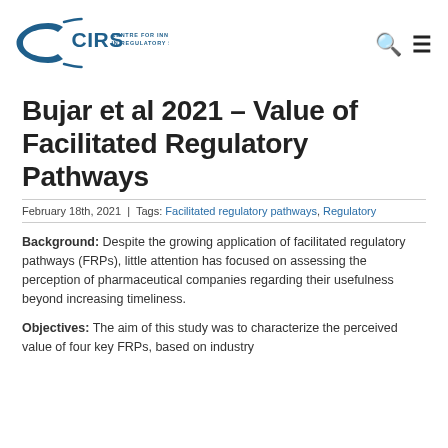[Figure (logo): CIRS – Centre for Innovation in Regulatory Science logo with a stylized C arc and blue text]
Bujar et al 2021 – Value of Facilitated Regulatory Pathways
February 18th, 2021 | Tags: Facilitated regulatory pathways, Regulatory
Background: Despite the growing application of facilitated regulatory pathways (FRPs), little attention has focused on assessing the perception of pharmaceutical companies regarding their usefulness beyond increasing timeliness.
Objectives: The aim of this study was to characterize the perceived value of four key FRPs, based on industry